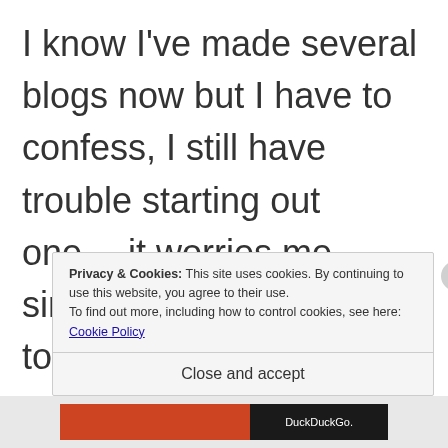I know I've made several blogs now but I have to confess, I still have trouble starting out one… it worries me since I may not be able to substantiate my reasons… But then again, given that I assert this as my
Privacy & Cookies: This site uses cookies. By continuing to use this website, you agree to their use. To find out more, including how to control cookies, see here: Cookie Policy
Close and accept
[Figure (screenshot): Bottom bar with red and dark sections, DuckDuckGo text visible]